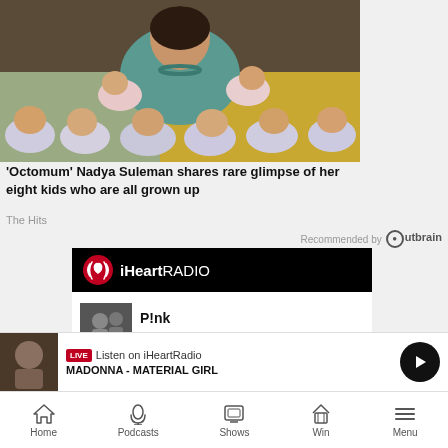[Figure (photo): Woman (Nadya Suleman) sitting on a bed holding multiple babies, with more babies arranged in a row in the foreground, all swaddled]
'Octomum' Nadya Suleman shares rare glimpse of her eight kids who are all grown up
The Hits
Recommended by Outbrain
[Figure (screenshot): iHeartRadio advertisement banner with logo on black background, showing P!nk artist tile with a LISTEN button]
[Figure (screenshot): Bottom player bar: LIVE badge, 'Listen on iHeartRadio', 'MADONNA - MATERIAL GIRL', play button, thumbnail]
Home  Podcasts  Shows  Win  Menu